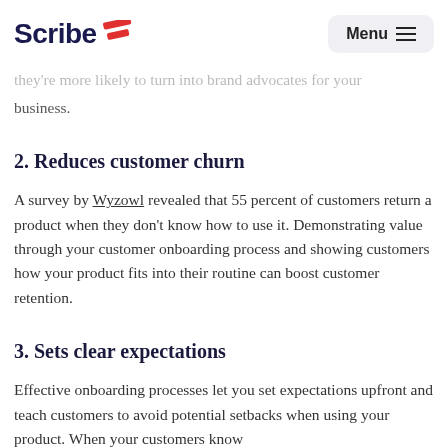Scribe [logo] | Menu
The onboarding process helps customers understand how they're more likely to turn into brand advocates for your business.
2. Reduces customer churn
A survey by Wyzowl revealed that 55 percent of customers return a product when they don't know how to use it. Demonstrating value through your customer onboarding process and showing customers how your product fits into their routine can boost customer retention.
3. Sets clear expectations
Effective onboarding processes let you set expectations upfront and teach customers to avoid potential setbacks when using your product. When your customers know